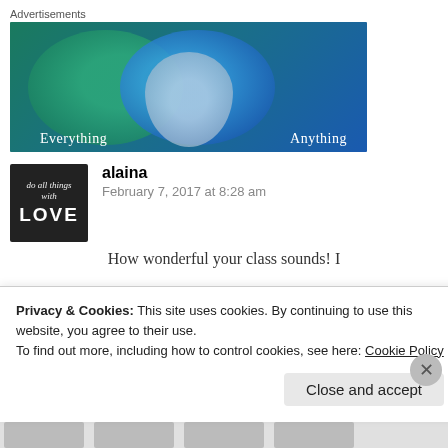Advertisements
[Figure (illustration): Advertisement banner showing two overlapping circles (Venn diagram style) on a blue-green gradient background. Left circle is teal/green labeled 'Everything', right circle is blue labeled 'Anything', with a light bluish-white overlapping region in the center.]
alaina
February 7, 2017 at 8:28 am
How wonderful your class sounds! I
Privacy & Cookies: This site uses cookies. By continuing to use this website, you agree to their use.
To find out more, including how to control cookies, see here: Cookie Policy
Close and accept